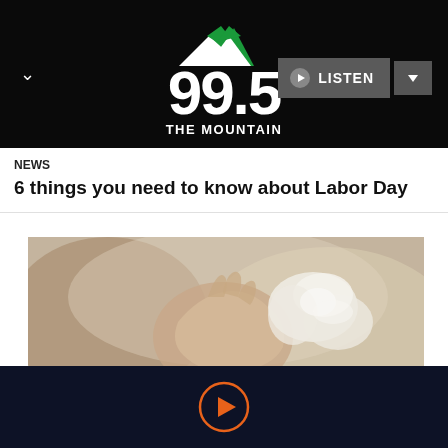[Figure (logo): 99.5 The Mountain radio station logo with green mountain peaks above the numbers 99.5 and text THE MOUNTAIN below, on black background with navigation chevron and LISTEN button]
NEWS
6 things you need to know about Labor Day
[Figure (photo): Close-up photo of a hand holding a white flower or tissue, blurred background with warm tones]
Officials have released a number of warning signs to look for when searching for formula online:
[Figure (other): Orange play button circle icon on dark navy background]